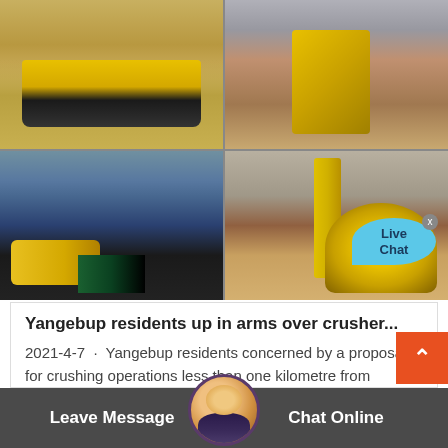[Figure (photo): Four-panel photo grid showing mining/quarry equipment: top-left: tracked heavy vehicle/bulldozer on sandy terrain; top-right: conveyor belt and yellow cone crusher machinery; bottom-left: excavator and dark material pile at mining site with hills in background; bottom-right: yellow belt conveyor and cone crusher at quarry site. Live Chat bubble overlay on bottom-right photo.]
Yangebup residents up in arms over crusher...
2021-4-7 · Yangebup residents concerned by a proposal for crushing operations less than one kilometre from residential properties. Credit: Be... Smith The report"s buff... nd land use diagram shows hundreds ...
Leave Message   Chat Online